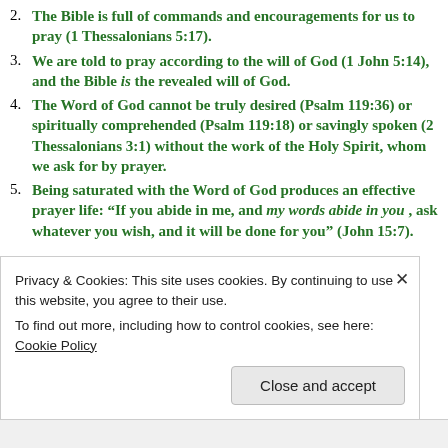2. The Bible is full of commands and encouragements for us to pray (1 Thessalonians 5:17).
3. We are told to pray according to the will of God (1 John 5:14), and the Bible is the revealed will of God.
4. The Word of God cannot be truly desired (Psalm 119:36) or spiritually comprehended (Psalm 119:18) or savingly spoken (2 Thessalonians 3:1) without the work of the Holy Spirit, whom we ask for by prayer.
5. Being saturated with the Word of God produces an effective prayer life: “If you abide in me, and my words abide in you , ask whatever you wish, and it will be done for you” (John 15:7).
Privacy & Cookies: This site uses cookies. By continuing to use this website, you agree to their use.
To find out more, including how to control cookies, see here: Cookie Policy